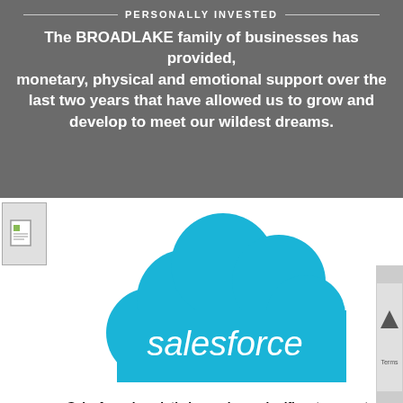PERSONALLY INVESTED
The BROADLAKE family of businesses has provided, monetary, physical and emotional support over the last two years that have allowed us to grow and develop to meet our wildest dreams.
[Figure (logo): Salesforce cloud logo with 'salesforce' text in white on blue cloud shape]
Salesforce is quietly becoming a significant supporter, Sally Kingston's group in Feb raised over €10k, allowing us to commit to providing a hot meal daily for our children in the school up the mountain in Simthali. This has led to another group going in October and Sally is gathering a group for February.